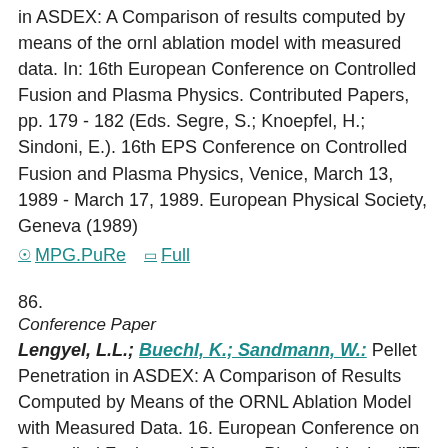in ASDEX: A Comparison of results computed by means of the ornl ablation model with measured data. In: 16th European Conference on Controlled Fusion and Plasma Physics. Contributed Papers, pp. 179 - 182 (Eds. Segre, S.; Knoepfel, H.; Sindoni, E.). 16th EPS Conference on Controlled Fusion and Plasma Physics, Venice, March 13, 1989 - March 17, 1989. European Physical Society, Geneva (1989)
MPG.PuRe   Full
86.
Conference Paper
Lengyel, L.L.; Buechl, K.; Sandmann, W.: Pellet Penetration in ASDEX: A Comparison of Results Computed by Means of the ORNL Ablation Model with Measured Data. 16. European Conference on Controlled Fusion and Plasma Physics, Venice (IT). 16. European Conference on Controlled Fusion and Plasma Physics, 19B, 1, pp. 179 - 182